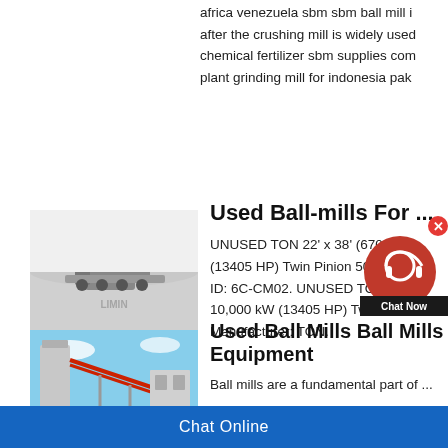africa venezuela sbm sbm ball mill i... after the crushing mill is widely used... chemical fertilizer sbm supplies com... plant grinding mill for indonesia pak...
[Figure (photo): Mining/crushing equipment machines on white/snowy ground with LIMIN watermark]
Used Ball-mills For ...
UNUSED TON 22' x 38' (670... (13405 HP) Twin Pinion 50 H... ID: 6C-CM02. UNUSED TON 22' x ... 10,000 kW (13405 HP) Twin Pinion ... Manufacturer: TON.
[Figure (photo): Industrial ball mill / processing plant with red structural steel and silos against blue sky]
Used Ball Mills Ball Mills... Equipment
Ball mills are a fundamental part of ...
Chat Online